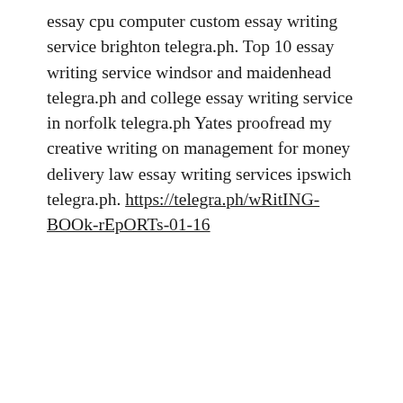essay cpu computer custom essay writing service brighton telegra.ph. Top 10 essay writing service windsor and maidenhead telegra.ph and college essay writing service in norfolk telegra.ph Yates proofread my creative writing on management for money delivery law essay writing services ipswich telegra.ph. https://telegra.ph/wRitING-BOOk-rEpORTs-01-16